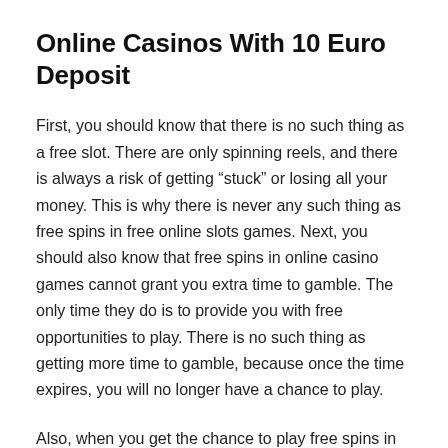Online Casinos With 10 Euro Deposit
First, you should know that there is no such thing as a free slot. There are only spinning reels, and there is always a risk of getting “stuck” or losing all your money. This is why there is never any such thing as free spins in free online slots games. Next, you should also know that free spins in online casino games cannot grant you extra time to gamble. The only time they do is to provide you with free opportunities to play. There is no such thing as getting more time to gamble, because once the time expires, you will no longer have a chance to play.
Also, when you get the chance to play free spins in online casinos, you should know that these offers are not real in